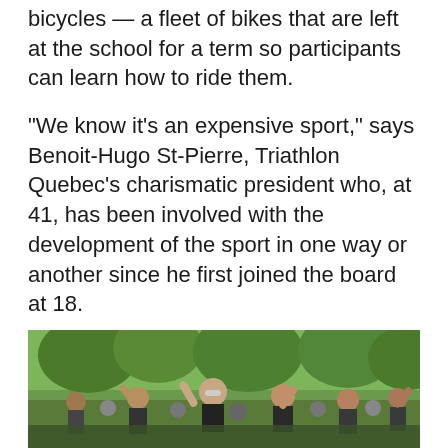bicycles — a fleet of bikes that are left at the school for a term so participants can learn how to ride them.
“We know it’s an expensive sport,” says Benoit-Hugo St-Pierre, Triathlon Quebec’s charismatic president who, at 41, has been involved with the development of the sport in one way or another since he first joined the board at 18.
“How can we democratize the sport? How can we make it more accessible?”
These are the questions Triathlon Quebec is asking as it looks to build on the foundation it’s created over its first 30 years.
[Figure (photo): Outdoor crowd scene at a triathlon event, people with arms raised, trees in background]